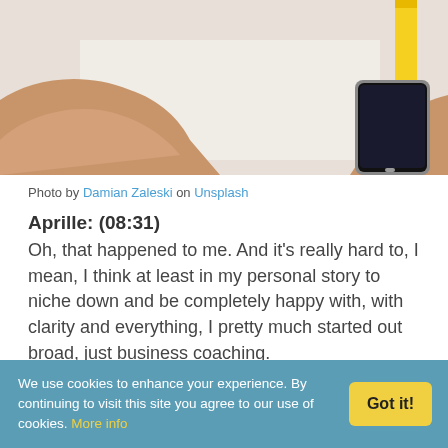[Figure (photo): Overhead view of person's hands on a white desk/table with a smartphone visible on the right side and a yellow pencil in the upper right corner]
Photo by Damian Zaleski on Unsplash
Aprille: (08:31)
Oh, that happened to me. And it's really hard to, I mean, I think at least in my personal story to niche down and be completely happy with, with clarity and everything, I pretty much started out broad, just business coaching.

Then I had to, like you said, take action before I
We use cookies to enhance your experience. By continuing to visit this site you agree to our use of cookies. More info
Got it!